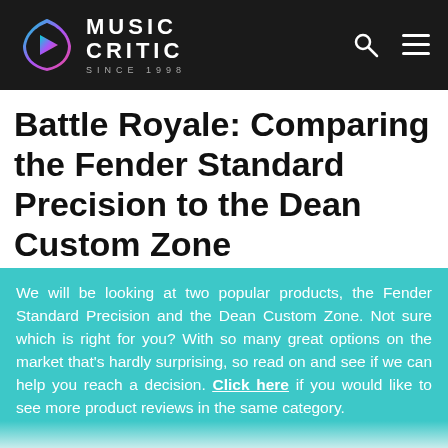MUSIC CRITIC SINCE 1998
Battle Royale: Comparing the Fender Standard Precision to the Dean Custom Zone
We will be looking at two popular products, the Fender Standard Precision and the Dean Custom Zone. Not sure which is right for you? With so many great options on the market that's hardly surprising, so read on and see if we can help you reach a decision. Click here if you would like to see more product reviews in the same category.